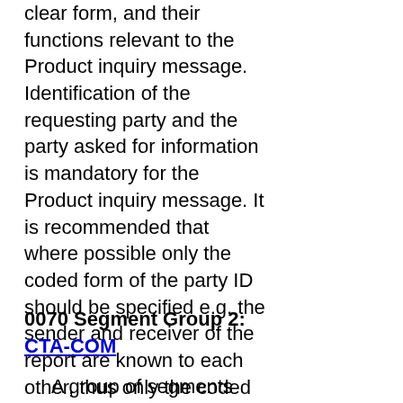clear form, and their functions relevant to the Product inquiry message. Identification of the requesting party and the party asked for information is mandatory for the Product inquiry message. It is recommended that where possible only the coded form of the party ID should be specified e.g. the sender and receiver of the report are known to each other, thus only the coded ID is required, but when a new address might have to be clearly specified, this should be done preferably in structured format.
0070 Segment Group 2: CTA-COM
A group of segments giving